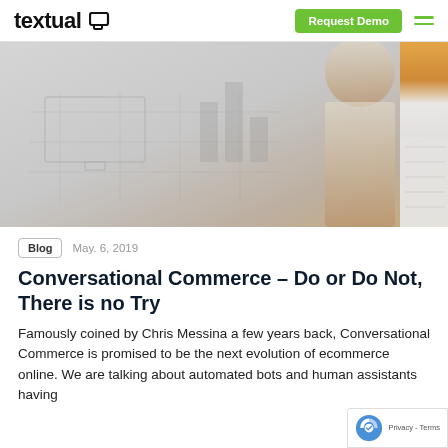textual — Request Demo
[Figure (photo): Hero banner image showing a blurred data visualization background with a person in the right area and an orange/amber colored object on the far right]
Blog   May. 6, 2019
Conversational Commerce – Do or Do Not, There is no Try
Famously coined by Chris Messina a few years back, Conversational Commerce is promised to be the next evolution of ecommerce online. We are talking about automated bots and human assistants having